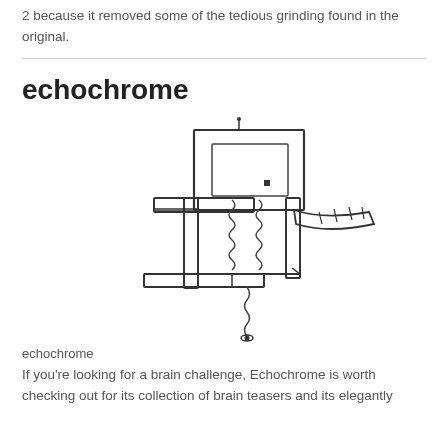2 because it removed some of the tedious grinding found in the original.
[Figure (illustration): Line-art illustration of an abstract 3D Escherian structure — a skeletal chair-like or impossible object made of rectangular frames, with spring/coil elements and extending rods at various angles, rendered in thin black outlines on white background.]
echochrome
If you're looking for a brain challenge, Echochrome is worth checking out for its collection of brain teasers and its elegantly